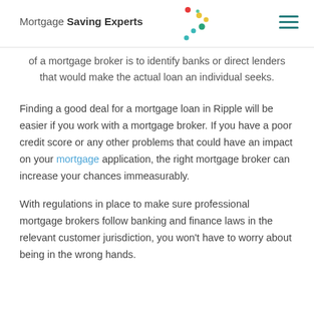Mortgage Saving Experts
of a mortgage broker is to identify banks or direct lenders that would make the actual loan an individual seeks.
Finding a good deal for a mortgage loan in Ripple will be easier if you work with a mortgage broker. If you have a poor credit score or any other problems that could have an impact on your mortgage application, the right mortgage broker can increase your chances immeasurably.
With regulations in place to make sure professional mortgage brokers follow banking and finance laws in the relevant customer jurisdiction, you won't have to worry about being in the wrong hands.